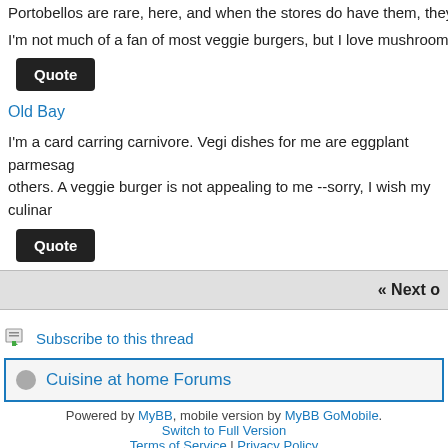Portobellos are rare, here, and when the stores do have them, they ma
I'm not much of a fan of most veggie burgers, but I love mushrooms so
Quote
Old Bay
I'm a card carring carnivore. Vegi dishes for me are eggplant parmesag others. A veggie burger is not appealing to me --sorry, I wish my culinar
Quote
« Next o
Subscribe to this thread
Cuisine at home Forums
Powered by MyBB, mobile version by MyBB GoMobile. Switch to Full Version Terms of Service | Privacy Policy